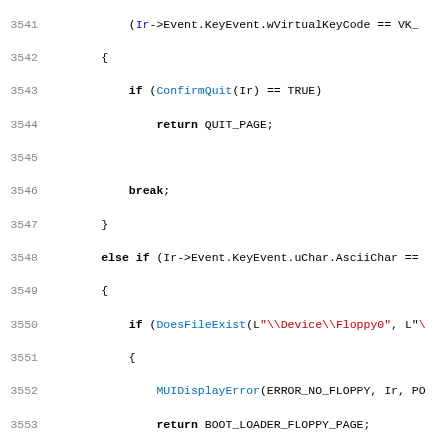[Figure (screenshot): Source code listing in C showing lines 3541–3572, a function handling key events for a boot loader floppy page, with syntax highlighting: keywords in bold black, function names in blue, string literals in red, comments in gray italic, line numbers in gray.]